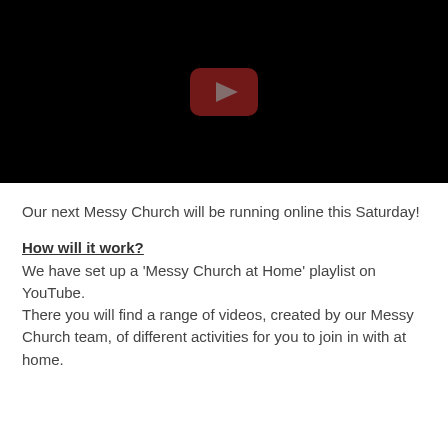[Figure (screenshot): YouTube video thumbnail showing a black screen with a dark red YouTube play button icon in the center]
Our next Messy Church will be running online this Saturday!
How will it work?
We have set up a 'Messy Church at Home' playlist on YouTube.
There you will find a range of videos, created by our Messy Church team, of different activities for you to join in with at home.